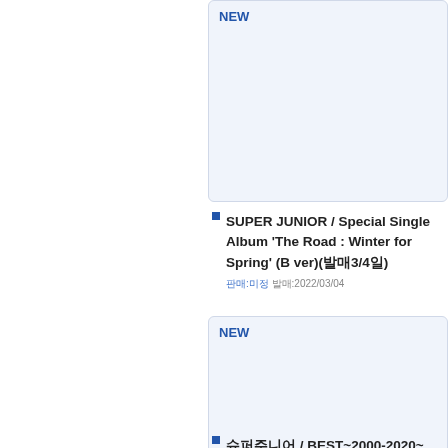NEW
SUPER JUNIOR / Special Single Album 'The Road : Winter for Spring' (B ver)(발매3/4일)
판매:미정 발매:2022/03/04
NEW
슈퍼주니어 / BEST~2000-2020~ (3CD+DVD)